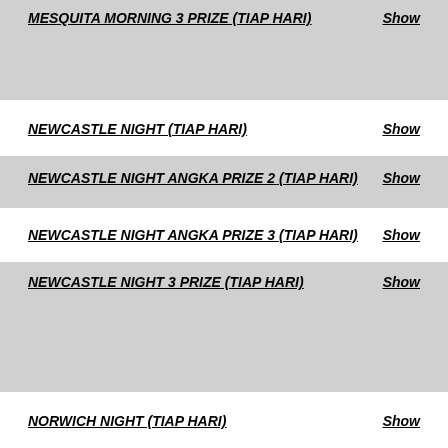MESQUITA MORNING 3 PRIZE (TIAP HARI)   Show
NEWCASTLE NIGHT (TIAP HARI)   Show
NEWCASTLE NIGHT ANGKA PRIZE 2 (TIAP HARI)   Show
NEWCASTLE NIGHT ANGKA PRIZE 3 (TIAP HARI)   Show
NEWCASTLE NIGHT 3 PRIZE (TIAP HARI)   Show
NORWICH NIGHT (TIAP HARI)   Show